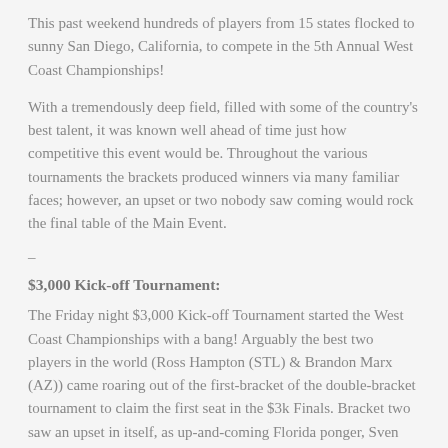This past weekend hundreds of players from 15 states flocked to sunny San Diego, California, to compete in the 5th Annual West Coast Championships!
With a tremendously deep field, filled with some of the country's best talent, it was known well ahead of time just how competitive this event would be. Throughout the various tournaments the brackets produced winners via many familiar faces; however, an upset or two nobody saw coming would rock the final table of the Main Event.
–
$3,000 Kick-off Tournament:
The Friday night $3,000 Kick-off Tournament started the West Coast Championships with a bang! Arguably the best two players in the world (Ross Hampton (STL) & Brandon Marx (AZ)) came roaring out of the first-bracket of the double-bracket tournament to claim the first seat in the $3k Finals. Bracket two saw an upset in itself, as up-and-coming Florida ponger, Sven Anderson, and veteran ponger, Dante